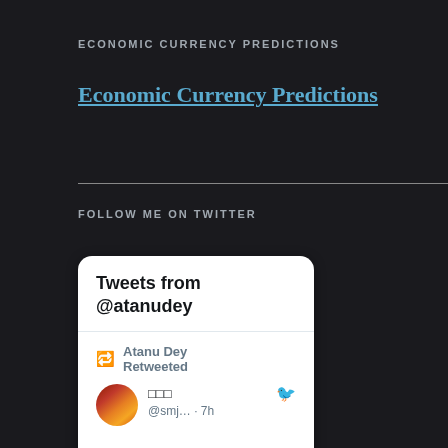ECONOMIC CURRENCY PREDICTIONS
Economic Currency Predictions
FOLLOW ME ON TWITTER
[Figure (screenshot): Embedded Twitter widget showing tweets from @atanudey, including a retweet by Atanu Dey from @smj... 7h, replying to @ProsaicView]